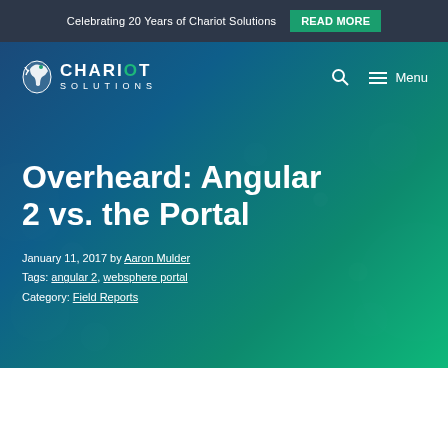Celebrating 20 Years of Chariot Solutions  READ MORE
[Figure (logo): Chariot Solutions logo with horse icon, white text on gradient background]
Overheard: Angular 2 vs. the Portal
January 11, 2017 by Aaron Mulder
Tags: angular 2, websphere portal
Category: Field Reports